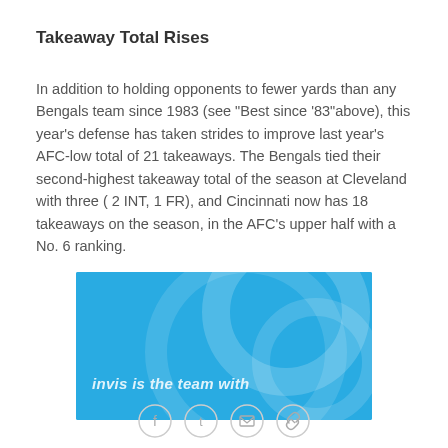Takeaway Total Rises
In addition to holding opponents to fewer yards than any Bengals team since 1983 (see "Best since '83"above), this year's defense has taken strides to improve last year's AFC-low total of 21 takeaways. The Bengals tied their second-highest takeaway total of the season at Cleveland with three ( 2 INT, 1 FR), and Cincinnati now has 18 takeaways on the season, in the AFC's upper half with a No. 6 ranking.
[Figure (photo): Blue background image with decorative circles and text overlay reading 'invis is the team with' in white italic text, partially cropped]
Social share icons: Facebook, Twitter, Email, Link